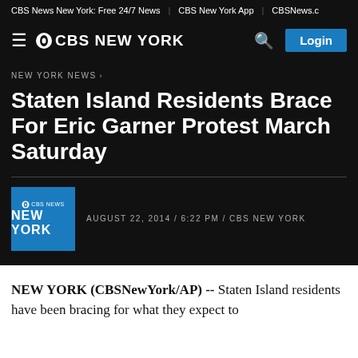CBS News New York: Free 24/7 News | CBS New York App | CBSNews.c
CBS NEW YORK
NEW YORK NEWS ›
Staten Island Residents Brace For Eric Garner Protest March Saturday
AUGUST 22, 2014 / 6:22 PM / CBS NEW YORK
NEW YORK (CBSNewYork/AP) -- Staten Island residents have been bracing for what they expect to